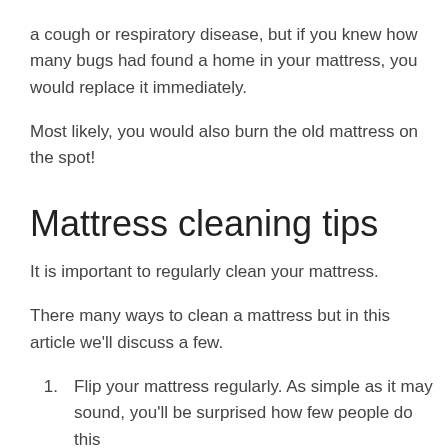a cough or respiratory disease, but if you knew how many bugs had found a home in your mattress, you would replace it immediately.
Most likely, you would also burn the old mattress on the spot!
Mattress cleaning tips
It is important to regularly clean your mattress.
There many ways to clean a mattress but in this article we'll discuss a few.
Flip your mattress regularly. As simple as it may sound, you'll be surprised how few people do this